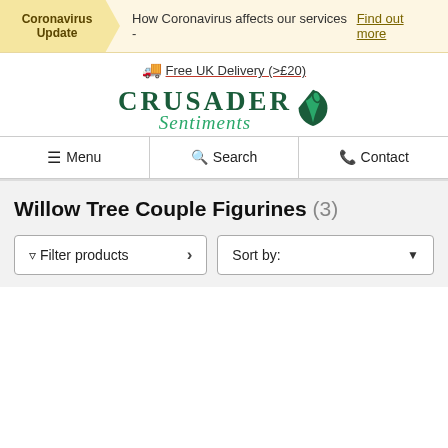Coronavirus Update — How Coronavirus affects our services - Find out more
Free UK Delivery (>£20)
[Figure (logo): Crusader Sentiments logo with green leaf/shield icon, serif wordmark CRUSADER and italic Sentiments]
Menu | Search | Contact
Willow Tree Couple Figurines (3)
Filter products > | Sort by: